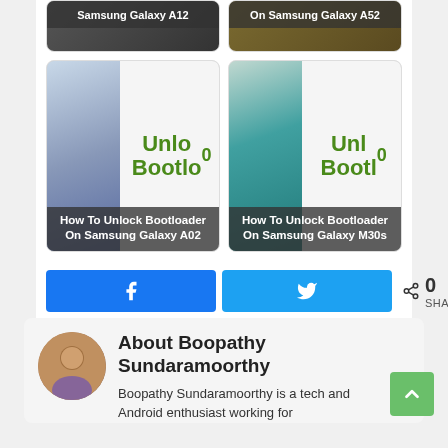[Figure (screenshot): Card thumbnail for 'How To Unlock Bootloader On Samsung Galaxy A02' article with phone image and green text]
[Figure (screenshot): Card thumbnail for 'How To Unlock Bootloader On Samsung Galaxy M30s' article with phone image and green text]
[Figure (screenshot): Social share buttons: Facebook and Twitter, with share count showing 0 SHARES]
Filed Under: Tutorials
About Boopathy Sundaramoorthy
Boopathy Sundaramoorthy is a tech and Android enthusiast working for